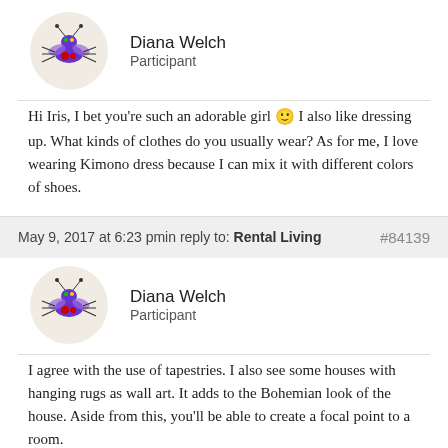[Figure (illustration): Circular avatar with cartoon bug/spider illustration on beige background]
Diana Welch
Participant
Hi Iris, I bet you're such an adorable girl 🙂 I also like dressing up. What kinds of clothes do you usually wear? As for me, I love wearing Kimono dress because I can mix it with different colors of shoes.
May 9, 2017 at 6:23 pmin reply to: Rental Living
#84139
[Figure (illustration): Circular avatar with cartoon bug/spider illustration on beige background]
Diana Welch
Participant
I agree with the use of tapestries. I also see some houses with hanging rugs as wall art. It adds to the Bohemian look of the house. Aside from this, you'll be able to create a focal point to a room.
May 9, 2017 at 6:09 pmin reply to: Antique Wash Stand Makeover Ideas
#84138